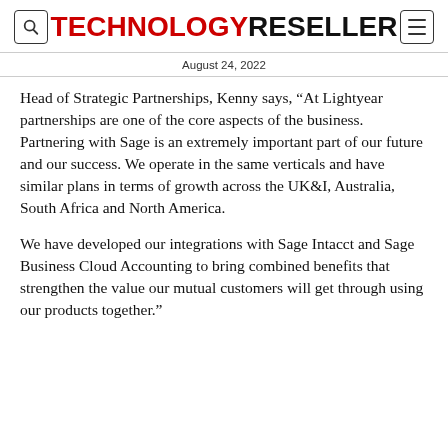TECHNOLOGY RESELLER
August 24, 2022
Head of Strategic Partnerships, Kenny says, “At Lightyear partnerships are one of the core aspects of the business. Partnering with Sage is an extremely important part of our future and our success. We operate in the same verticals and have similar plans in terms of growth across the UK&I, Australia, South Africa and North America.
We have developed our integrations with Sage Intacct and Sage Business Cloud Accounting to bring combined benefits that strengthen the value our mutual customers will get through using our products together.”